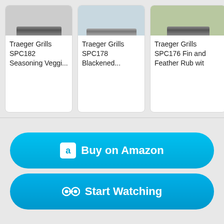Traeger Grills SPC182 Seasoning Veggi...
Traeger Grills SPC178 Blackened...
Traeger Grills SPC176 Fin and Feather Rub wit
[Figure (screenshot): Buy on Amazon button - bright blue rounded rectangle button with Amazon logo icon and white text]
[Figure (screenshot): Start Watching button - bright blue rounded rectangle button with binoculars icon and white text]